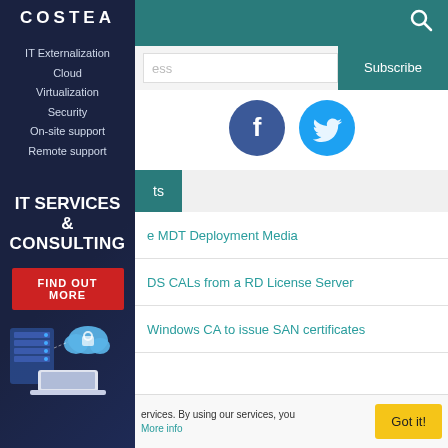COSTEA
IT Externalization
Cloud
Virtualization
Security
On-site support
Remote support
IT SERVICES & CONSULTING
FIND OUT MORE
[Figure (illustration): Server and cloud infrastructure illustration with laptop]
Subscribe
[Figure (logo): Facebook circle icon]
[Figure (logo): Twitter circle icon]
ts
e MDT Deployment Media
DS CALs from a RD License Server
Windows CA to issue SAN certificates
ervices. By using our services, you
More info
Got it!